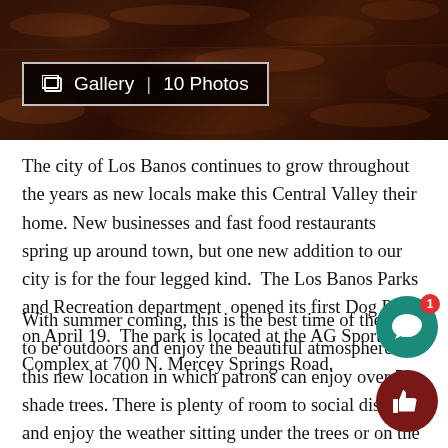[Figure (photo): Dark reddish-brown soil/mulch photo with a gallery badge overlay showing 'Gallery | 10 Photos' in the lower-left area of the image]
The city of Los Banos continues to grow throughout the years as new locals make this Central Valley their home. New businesses and fast food restaurants spring up around town, but one new addition to our city is for the four legged kind.  The Los Banos Parks and Recreation department  opened its first Dog Park on April 19.  The park is located at the AG Sports Complex at 700 N. Mercey Springs Road.
With summer coming, this is the best time of the year to be outdoors and enjoy the beautiful atmosphere at this new location in which patrons can enjoy over 50 shade trees. There is plenty of room to social distance and enjoy the weather sitting under the trees or on the many benches, some shaped as dog bones, while your dog enjoys the s and companionship with other dogs while being off the